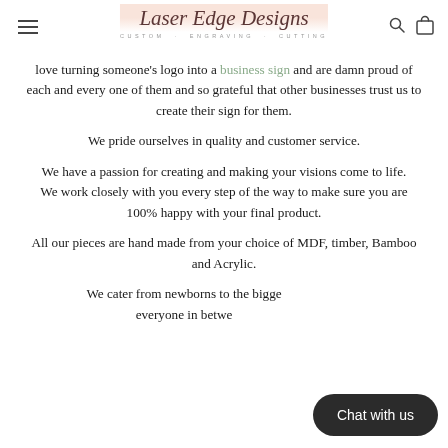Laser Edge Designs — CUSTOM · ENGRAVING · CUTTING
love turning someone's logo into a business sign and are damn proud of each and every one of them and so grateful that other businesses trust us to create their sign for them.
We pride ourselves in quality and customer service.
We have a passion for creating and making your visions come to life.
We work closely with you every step of the way to make sure you are 100% happy with your final product.
All our pieces are hand made from your choice of MDF, timber, Bamboo and Acrylic.
We cater from newborns to the bigge… everyone in betwe…